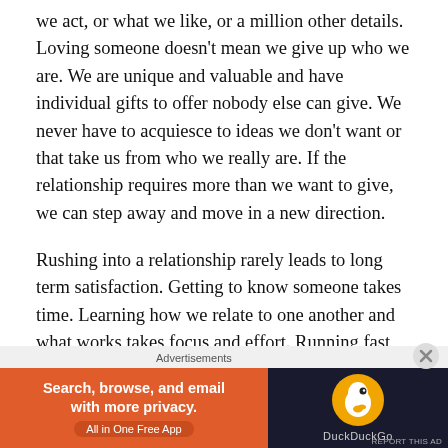we act, or what we like, or a million other details. Loving someone doesn't mean we give up who we are. We are unique and valuable and have individual gifts to offer nobody else can give. We never have to acquiesce to ideas we don't want or that take us from who we really are. If the relationship requires more than we want to give, we can step away and move in a new direction.
Rushing into a relationship rarely leads to long term satisfaction. Getting to know someone takes time. Learning how we relate to one another and what works takes focus and effort. Running fast into the wind will definitely take us somewhere, but if we can't clearly see where we're headed, we probably won't end up where we
Advertisements
[Figure (other): DuckDuckGo advertisement banner with orange background on left side reading 'Search, browse, and email with more privacy. All in One Free App' and dark background on right with DuckDuckGo duck logo.]